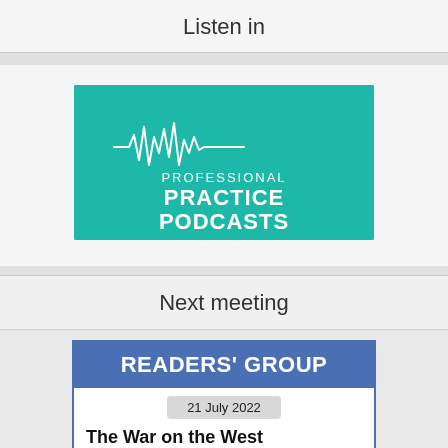Listen in
[Figure (logo): Professional Practice Podcasts logo — teal background with white sound-wave graphic and the text PROFESSIONAL PRACTICE PODCASTS in white bold lettering]
Next meeting
[Figure (infographic): Readers' Group card. Blue header bar with white bold text READERS' GROUP. Below: date badge '21 July 2022', book title 'The War on the West', subtitle 'How to prevail in the age of unreason']